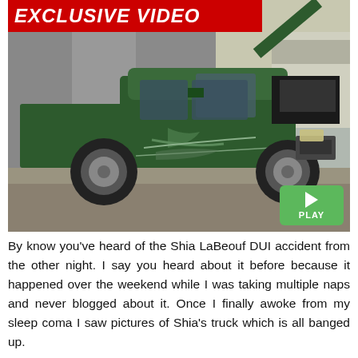[Figure (photo): Exclusive Video banner in red with white italic bold text 'EXCLUSIVE VIDEO', and a photo of a green pickup truck with the hood open and damage to the driver's side door/panel, shown in a parking lot. A green play button with 'PLAY' text is in the bottom right of the image.]
By know you've heard of the Shia LaBeouf DUI accident from the other night. I say you heard about it before because it happened over the weekend while I was taking multiple naps and never blogged about it. Once I finally awoke from my sleep coma I saw pictures of Shia's truck which is all banged up.